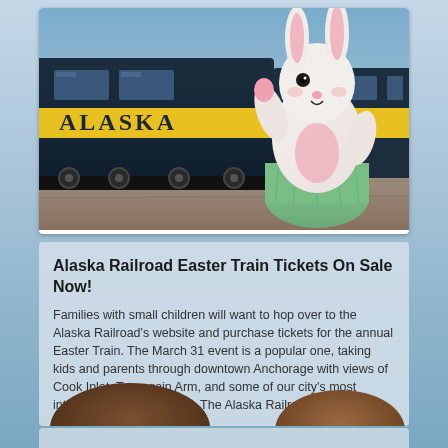[Figure (photo): Easter Bunny costume character waving in front of a blue and gold Alaska Railroad train. The bunny wears a white costume with pink accents and a green skirt. The train prominently displays 'ALASKA' in gold lettering on a yellow stripe.]
Alaska Railroad Easter Train Tickets On Sale Now!
Families with small children will want to hop over to the Alaska Railroad's website and purchase tickets for the annual Easter Train. The March 31 event is a popular one, taking kids and parents through downtown Anchorage with views of Cook Inlet, Turnagain Arm, and some of our city's most intriguing neighborhoods.  The Alaska Railroad [...]